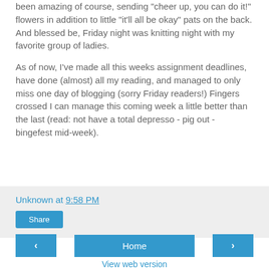been amazing of course, sending "cheer up, you can do it!" flowers in addition to little "it'll all be okay" pats on the back. And blessed be, Friday night was knitting night with my favorite group of ladies.
As of now, I've made all this weeks assignment deadlines, have done (almost) all my reading, and managed to only miss one day of blogging (sorry Friday readers!) Fingers crossed I can manage this coming week a little better than the last (read: not have a total depresso - pig out - bingefest mid-week).
Unknown at 9:58 PM
Share
‹
Home
›
View web version